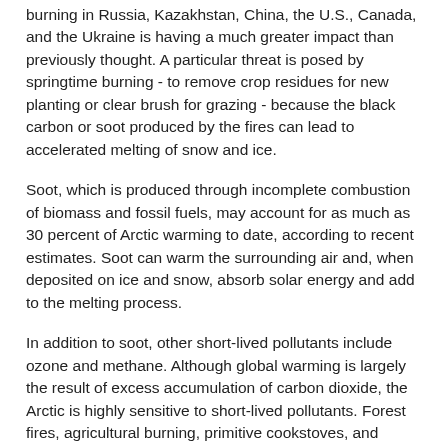burning in Russia, Kazakhstan, China, the U.S., Canada, and the Ukraine is having a much greater impact than previously thought. A particular threat is posed by springtime burning - to remove crop residues for new planting or clear brush for grazing - because the black carbon or soot produced by the fires can lead to accelerated melting of snow and ice.
Soot, which is produced through incomplete combustion of biomass and fossil fuels, may account for as much as 30 percent of Arctic warming to date, according to recent estimates. Soot can warm the surrounding air and, when deposited on ice and snow, absorb solar energy and add to the melting process.
In addition to soot, other short-lived pollutants include ozone and methane. Although global warming is largely the result of excess accumulation of carbon dioxide, the Arctic is highly sensitive to short-lived pollutants. Forest fires, agricultural burning, primitive cookstoves, and diesel fuel are the primary sources of black carbon; oil and gas activities and landfills are major sources of methane....